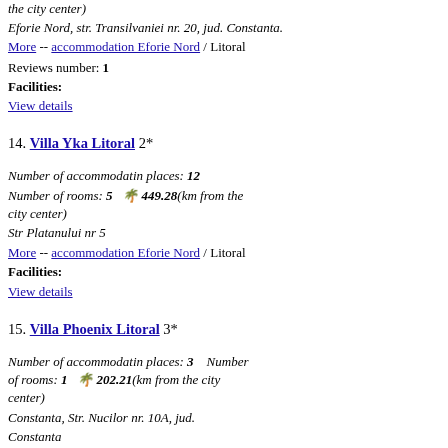the city center)
Eforie Nord, str. Transilvaniei nr. 20, jud. Constanta.
More -- accommodation Eforie Nord / Litoral
Reviews number: 1
Facilities:
View details
14. Villa Yka Litoral 2*
Number of accommodatin places: 12
Number of rooms: 5  449.28(km from the city center)
Str Platanului nr 5
More -- accommodation Eforie Nord / Litoral
Facilities:
View details
15. Villa Phoenix Litoral 3*
Number of accommodatin places: 3  Number of rooms: 1  202.21(km from the city center)
Constanta, Str. Nucilor nr. 10A, jud.
Constanta